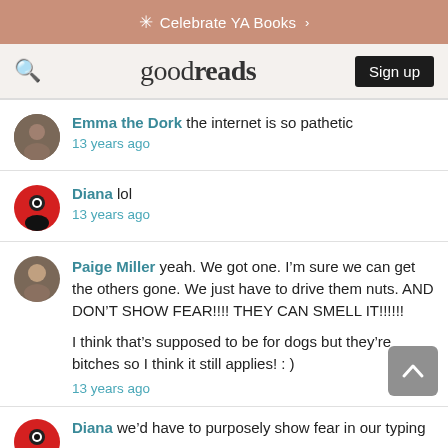Celebrate YA Books >
goodreads  Sign up
Emma the Dork the internet is so pathetic
13 years ago
Diana lol
13 years ago
Paige Miller yeah. We got one. I'm sure we can get the others gone. We just have to drive them nuts. AND DON'T SHOW FEAR!!!! THEY CAN SMELL IT!!!!!!

I think that's supposed to be for dogs but they're bitches so I think it still applies! : )
13 years ago
Diana we'd have to purposely show fear in our typing